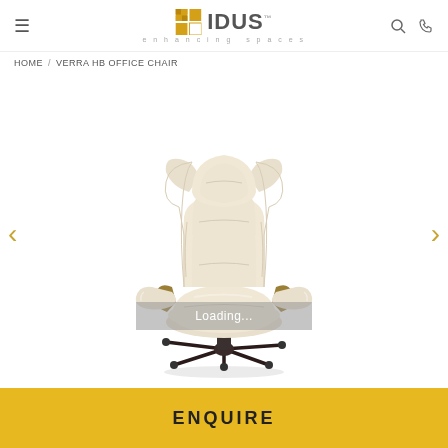IDUS™ enhancing spaces
HOME / VERRA HB OFFICE CHAIR
[Figure (photo): Cream/ivory leather high-back executive office chair with wooden armrests, cushioned back and seat, dark five-star base with casters. A gray 'Loading...' overlay bar appears across the lower portion of the chair image.]
ENQUIRE